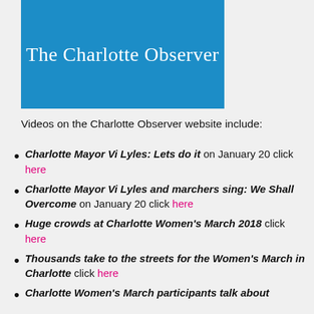[Figure (logo): The Charlotte Observer logo — white serif text on blue background]
Videos on the Charlotte Observer website include:
Charlotte Mayor Vi Lyles: Lets do it on January 20 click here
Charlotte Mayor Vi Lyles and marchers sing: We Shall Overcome on January 20 click here
Huge crowds at Charlotte Women's March 2018 click here
Thousands take to the streets for the Women's March in Charlotte click here
Charlotte Women's March participants talk about their involvement click here